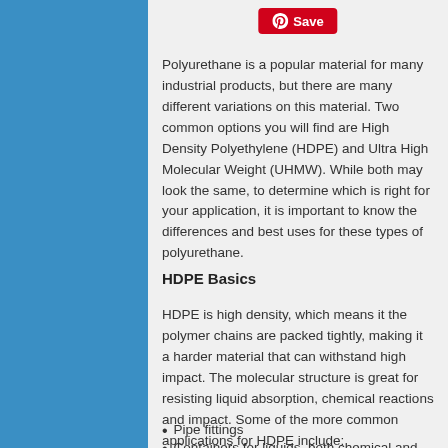[Figure (logo): Pinterest Save button in red with Pinterest logo icon]
Polyurethane is a popular material for many industrial products, but there are many different variations on this material. Two common options you will find are High Density Polyethylene (HDPE) and Ultra High Molecular Weight (UHMW). While both may look the same, to determine which is right for your application, it is important to know the differences and best uses for these types of polyurethane.
HDPE Basics
HDPE is high density, which means it the polymer chains are packed tightly, making it a harder material that can withstand high impact. The molecular structure is great for resisting liquid absorption, chemical reactions and impact. Some of the more common applications for HDPE include:
Pipe fittings
Containers for liquids, both chemical and